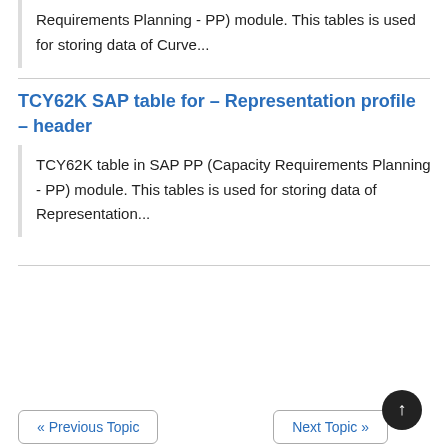Requirements Planning - PP) module. This tables is used for storing data of Curve...
TCY62K SAP table for – Representation profile – header
TCY62K table in SAP PP (Capacity Requirements Planning - PP) module. This tables is used for storing data of Representation...
« Previous Topic
Next Topic »